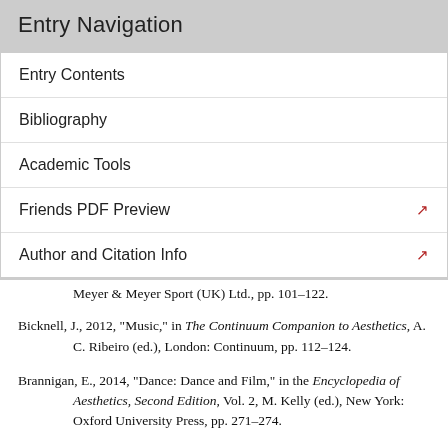Entry Navigation
Entry Contents
Bibliography
Academic Tools
Friends PDF Preview
Author and Citation Info
Meyer & Meyer Sport (UK) Ltd., pp. 101–122.
Bicknell, J., 2012, "Music," in The Continuum Companion to Aesthetics, A. C. Ribeiro (ed.), London: Continuum, pp. 112–124.
Brannigan, E., 2014, "Dance: Dance and Film," in the Encyclopedia of Aesthetics, Second Edition, Vol. 2, M. Kelly (ed.), New York: Oxford University Press, pp. 271–274.
Bresnahan, A., 2013, "The Philosophical Aesthetics of Dance: Identity, Performance, and Understanding by Dance, M. Foultier (ed.)," Dance Research Journal,